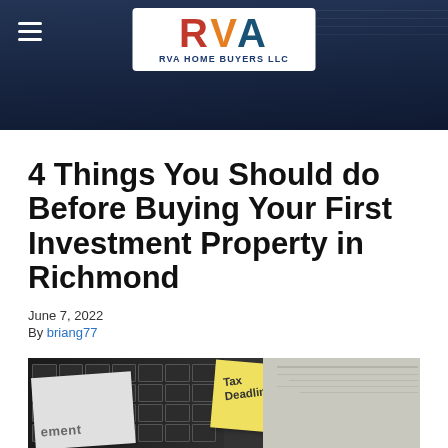RVA HOME BUYERS LLC
4 Things You Should do Before Buying Your First Investment Property in Richmond
June 7, 2022
By briang77
[Figure (photo): Desk with laptop keyboard, paper with word 'ement', yellow sticky note reading 'Tax Deadline', and a dark card with 'MULA' text, plus background papers]